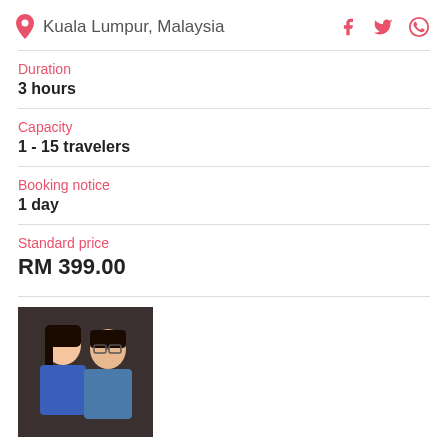Kuala Lumpur, Malaysia
Duration
3 hours
Capacity
1 - 15 travelers
Booking notice
1 day
Standard price
RM 399.00
[Figure (photo): Photo of a man and woman, both wearing blue clothing, smiling for the camera]
★★★★